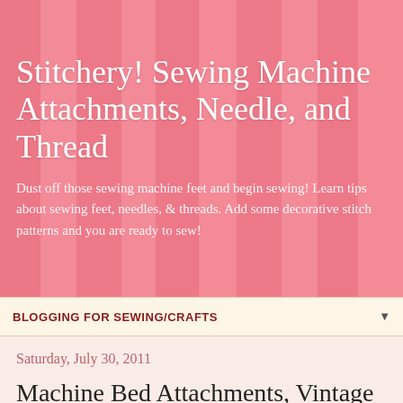[Figure (illustration): Pink striped banner background with vertical stripes in varying shades of pink/rose]
Stitchery! Sewing Machine Attachments, Needle, and Thread
Dust off those sewing machine feet and begin sewing! Learn tips about sewing feet, needles, & threads. Add some decorative stitch patterns and you are ready to sew!
BLOGGING FOR SEWING/CRAFTS
Saturday, July 30, 2011
Machine Bed Attachments, Vintage Applique Feet and MORE!